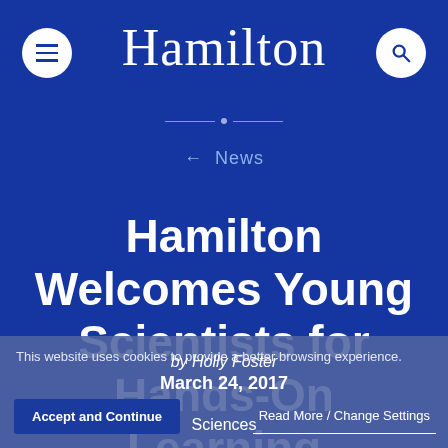Hamilton
← News
Hamilton Welcomes Young Scientists for Hands-On Learning
by Holly Foster
March 24, 2017
Sciences
This website uses cookies to provide a better browsing experience.
Accept and Continue    Read More / Change Settings